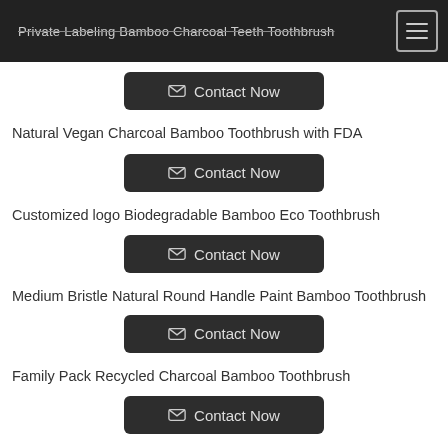Private Labeling Bamboo Charcoal Teeth Toothbrush
Contact Now
Natural Vegan Charcoal Bamboo Toothbrush with FDA
Contact Now
Customized logo Biodegradable Bamboo Eco Toothbrush
Contact Now
Medium Bristle Natural Round Handle Paint Bamboo Toothbrush
Contact Now
Family Pack Recycled Charcoal Bamboo Toothbrush
Contact Now